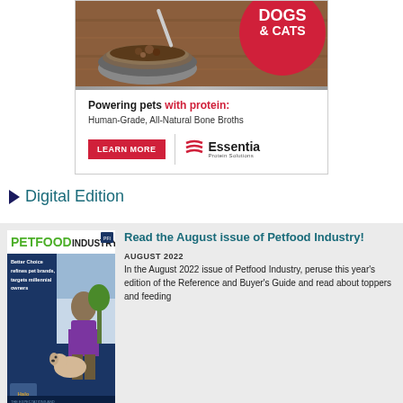[Figure (illustration): Advertisement for Essentia Protein Solutions showing a dog food bowl on a wooden surface with a red circle badge reading DOGS & CATS. Below: 'Powering pets with protein: Human-Grade, All-Natural Bone Broths' with a red LEARN MORE button and Essentia logo.]
Digital Edition
[Figure (photo): Cover of Petfood Industry magazine August 2022 issue showing a man in purple shirt sitting with a yellow Labrador dog, with text 'Better Choice refines pet brands, targets millennial owners']
Read the August issue of Petfood Industry!
AUGUST 2022
In the August 2022 issue of Petfood Industry, peruse this year's edition of the Reference and Buyer's Guide and read about toppers and feeding